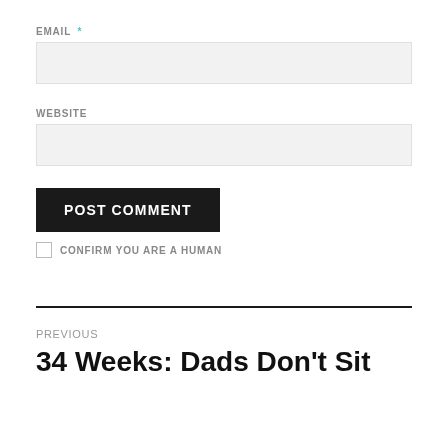EMAIL *
[Figure (other): Email text input field (empty, light gray background)]
WEBSITE
[Figure (other): Website text input field (empty, light gray background)]
POST COMMENT
CONFIRM YOU ARE A HUMAN
PREVIOUS
34 Weeks: Dads Don't Sit